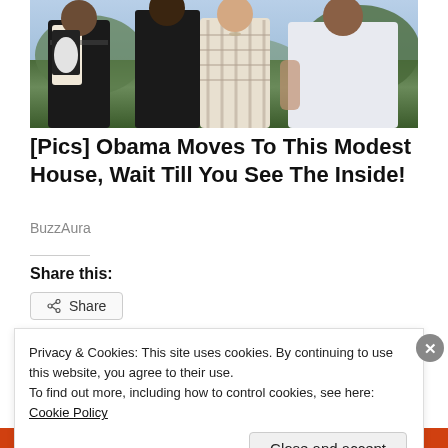[Figure (photo): Group photo of four women posing together, cropped at shoulders/torso level, outdoors with green foliage in background.]
[Pics] Obama Moves To This Modest House, Wait Till You See The Inside!
BuzzAura
Share this:
Share
Privacy & Cookies: This site uses cookies. By continuing to use this website, you agree to their use.
To find out more, including how to control cookies, see here: Cookie Policy
Close and accept